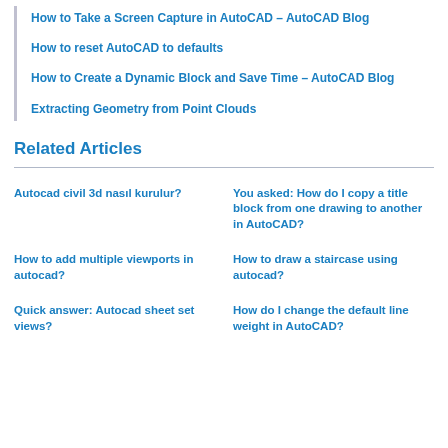How to Take a Screen Capture in AutoCAD – AutoCAD Blog
How to reset AutoCAD to defaults
How to Create a Dynamic Block and Save Time – AutoCAD Blog
Extracting Geometry from Point Clouds
Related Articles
Autocad civil 3d nasıl kurulur?
You asked: How do I copy a title block from one drawing to another in AutoCAD?
How to add multiple viewports in autocad?
How to draw a staircase using autocad?
Quick answer: Autocad sheet set views?
How do I change the default line weight in AutoCAD?